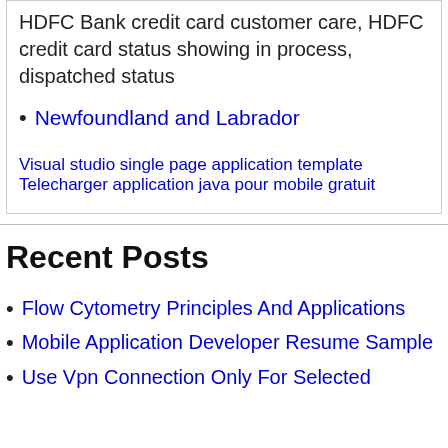HDFC Bank credit card customer care, HDFC credit card status showing in process, dispatched status
Newfoundland and Labrador
Visual studio single page application template Telecharger application java pour mobile gratuit
Recent Posts
Flow Cytometry Principles And Applications
Mobile Application Developer Resume Sample
Use Vpn Connection Only For Selected